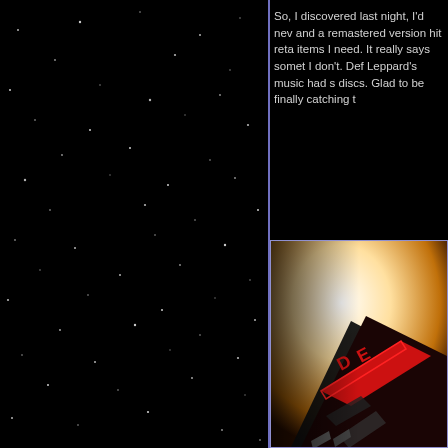[Figure (photo): Left half of page: black starfield background with scattered small white star dots and a vertical purple/blue divider line on the right edge.]
So, I discovered last night, I'd nev and a remastered version hit reta items I need. It really says somet I don't. Def Leppard's music had s discs. Glad to be finally catching t
[Figure (photo): Partial view of a Def Leppard album cover showing a black angular CD case with red logo text and geometric patterns against a bright warm backlit background.]